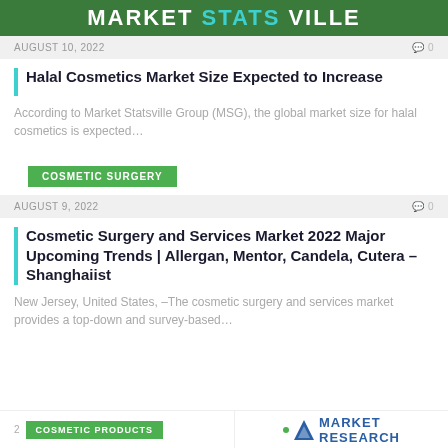MARKET STATS VILLE
AUGUST 10, 2022   0
Halal Cosmetics Market Size Expected to Increase
According to Market Statsville Group (MSG), the global market size for halal cosmetics is expected…
COSMETIC SURGERY
AUGUST 9, 2022   0
Cosmetic Surgery and Services Market 2022 Major Upcoming Trends | Allergan, Mentor, Candela, Cutera – Shanghaiist
New Jersey, United States, –The cosmetic surgery and services market provides a top-down and survey-based…
COSMETIC PRODUCTS
[Figure (logo): Market Research logo with blue triangle and dots]